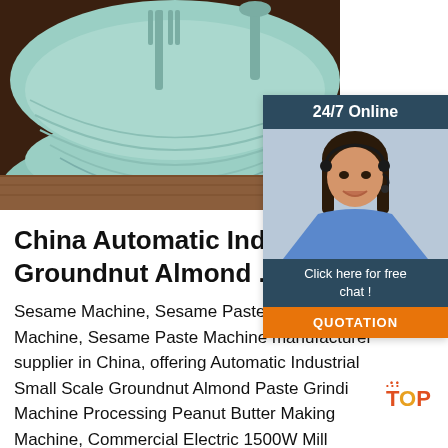[Figure (photo): Photo of a light teal/mint colored ceramic bowl with fork and spatula/spoon utensils resting inside, sitting on a wooden surface with dark background]
[Figure (photo): Chat widget showing '24/7 Online' header, a photo of a smiling woman with headset (customer service agent), 'Click here for free chat!' text, and an orange QUOTATION button]
China Automatic Industrial Sma Groundnut Almond ...
Sesame Machine, Sesame Paste Mak Machine, Sesame Paste Machine manufacturer supplier in China, offering Automatic Industrial Small Scale Groundnut Almond Paste Grinding Machine Processing Peanut Butter Making Machine, Commercial Electric 1500W Mill